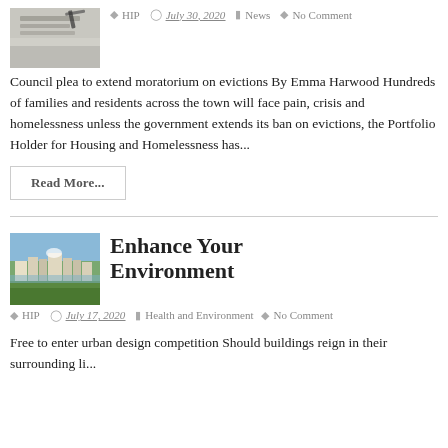[Figure (photo): Partial thumbnail image showing a pen and paper/document, top-left corner of first article]
HIP  July 30, 2020  News  No Comment
Council plea to extend moratorium on evictions By Emma Harwood Hundreds of families and residents across the town will face pain, crisis and homelessness unless the government extends its ban on evictions, the Portfolio Holder for Housing and Homelessness has...
Read More...
[Figure (photo): Thumbnail photo of a cityscape/town with buildings on a hillside]
Enhance Your Environment
HIP  July 17, 2020  Health and Environment  No Comment
Free to enter urban design competition Should buildings reign in their surrounding li...